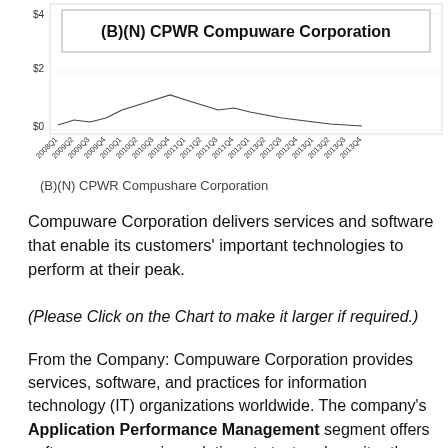[Figure (line-chart): Line chart showing CPWR Compuware Corporation stock price from 2008Q1 to 2013Q4 with y-axis values $0, $2, $4]
(B)(N) CPWR Compushare Corporation
Compuware Corporation delivers services and software that enable its customers' important technologies to perform at their peak.
(Please Click on the Chart to make it larger if required.)
From the Company: Compuware Corporation provides services, software, and practices for information technology (IT) organizations worldwide. The company’s Application Performance Management segment offers software-as-a-service solutions to test and monitor the performance, availability, and quality of companies Web